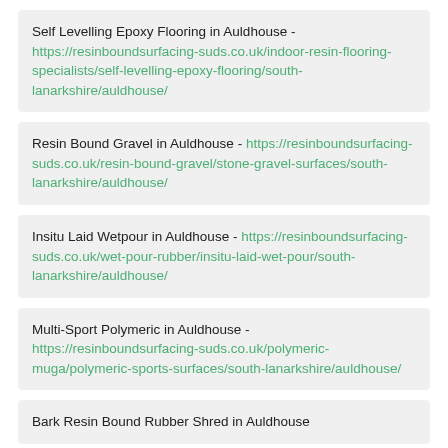Self Levelling Epoxy Flooring in Auldhouse - https://resinboundsurfacing-suds.co.uk/indoor-resin-flooring-specialists/self-levelling-epoxy-flooring/south-lanarkshire/auldhouse/
Resin Bound Gravel in Auldhouse - https://resinboundsurfacing-suds.co.uk/resin-bound-gravel/stone-gravel-surfaces/south-lanarkshire/auldhouse/
Insitu Laid Wetpour in Auldhouse - https://resinboundsurfacing-suds.co.uk/wet-pour-rubber/insitu-laid-wet-pour/south-lanarkshire/auldhouse/
Multi-Sport Polymeric in Auldhouse - https://resinboundsurfacing-suds.co.uk/polymeric-muga/polymeric-sports-surfaces/south-lanarkshire/auldhouse/
Bark Resin Bound Rubber Shred in Auldhouse